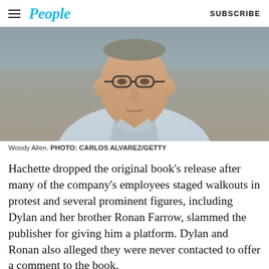People | SUBSCRIBE
[Figure (photo): Close-up photo of Woody Allen, an older man with glasses, wearing a light blue collared shirt, photographed outdoors with a blurred background.]
Woody Allen. PHOTO: CARLOS ALVAREZ/GETTY
Hachette dropped the original book’s release after many of the company’s employees staged walkouts in protest and several prominent figures, including Dylan and her brother Ronan Farrow, slammed the publisher for giving him a platform. Dylan and Ronan also alleged they were never contacted to offer...